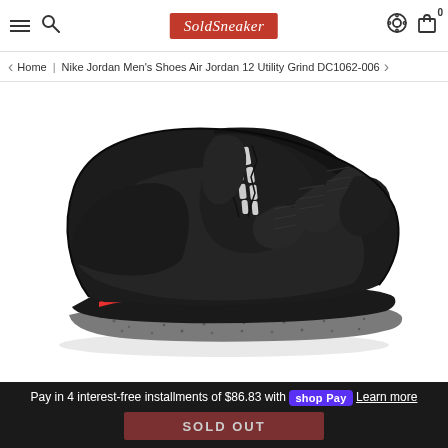SoldSneaker
Home | Nike Jordan Men's Shoes Air Jordan 12 Utility Grind DC1062-006
[Figure (photo): Nike Air Jordan 12 Utility Grind DC1062-006 sneaker in black with white lace loops, red accent stripe on the midsole, and grey speckled outsole, shown in side profile view on white background.]
Pay in 4 interest-free installments of $86.83 with shop Pay Learn more
SOLD OUT